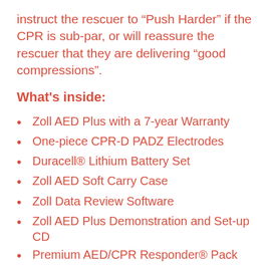instruct the rescuer to “Push Harder” if the CPR is sub-par, or will reassure the rescuer that they are delivering “good compressions”.
What's inside:
Zoll AED Plus with a 7-year Warranty
One-piece CPR-D PADZ Electrodes
Duracell® Lithium Battery Set
Zoll AED Soft Carry Case
Zoll Data Review Software
Zoll AED Plus Demonstration and Set-up CD
Premium AED/CPR Responder® Pack
“AED Equipped” Window/Wall Decal